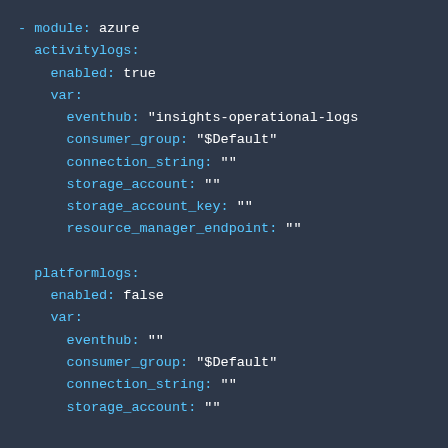- module: azure
  activitylogs:
    enabled: true
    var:
      eventhub: "insights-operational-logs"
      consumer_group: "$Default"
      connection_string: ""
      storage_account: ""
      storage_account_key: ""
      resource_manager_endpoint: ""

  platformlogs:
    enabled: false
    var:
      eventhub: ""
      consumer_group: "$Default"
      connection_string: ""
      storage_account: ""